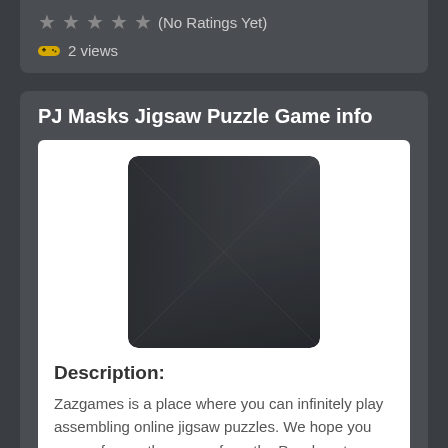★ ★ ★ ★ ★ (No Ratings Yet)
🎮 2 views
PJ Masks Jigsaw Puzzle Game info
[Figure (photo): Dark placeholder thumbnail image with diagonal gradient, rounded corners]
Description:
Zazgames is a place where you can infinitely play assembling online jigsaw puzzles. We hope you are up for another game from the Puzzle category on our